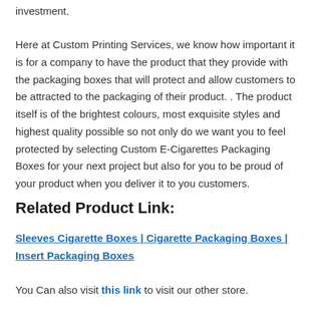investment.
Here at Custom Printing Services, we know how important it is for a company to have the product that they provide with the packaging boxes that will protect and allow customers to be attracted to the packaging of their product. . The product itself is of the brightest colours, most exquisite styles and highest quality possible so not only do we want you to feel protected by selecting Custom E-Cigarettes Packaging Boxes for your next project but also for you to be proud of your product when you deliver it to you customers.
Related Product Link:
Sleeves Cigarette Boxes | Cigarette Packaging Boxes | Insert Packaging Boxes
You Can also visit this link to visit our other store.